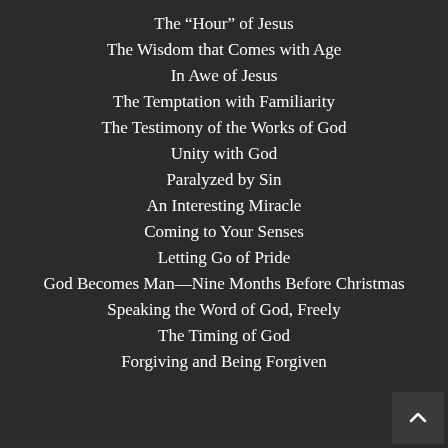The “Hour” of Jesus
The Wisdom that Comes with Age
In Awe of Jesus
The Temptation with Familiarity
The Testimony of the Works of God
Unity with God
Paralyzed by Sin
An Interesting Miracle
Coming to Your Senses
Letting Go of Pride
God Becomes Man—Nine Months Before Christmas
Speaking the Word of God, Freely
The Timing of God
Forgiving and Being Forgiven